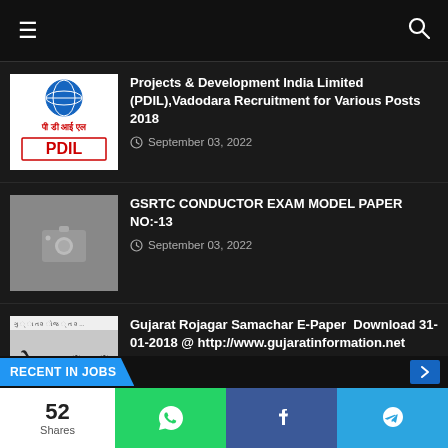Navigation bar with hamburger menu and search icon
[Figure (logo): PDIL (Projects & Development India Limited) logo with globe icon and Hindi text]
Projects & Development India Limited (PDIL),Vadodara Recruitment for Various Posts 2018
September 03, 2022
[Figure (photo): Grey placeholder image with camera icon]
GSRTC CONDUCTOR EXAM MODEL PAPER NO:-13
September 03, 2022
[Figure (photo): Gujarat Rojagar Samachar newspaper thumbnail with Gujarati text]
Gujarat Rojagar Samachar E-Paper  Download 31-01-2018 @ http://www.gujaratinformation.net
September 03, 2022
52 Shares | WhatsApp | Facebook | Telegram
RECENT IN JOBS